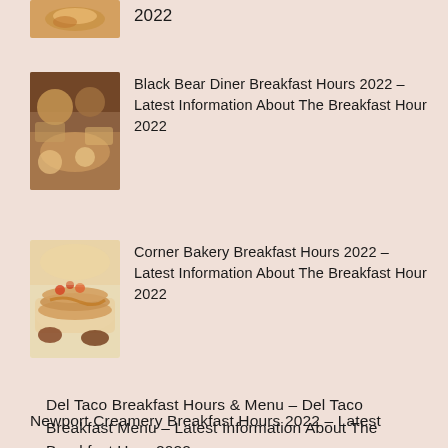2022
Black Bear Diner Breakfast Hours 2022 – Latest Information About The Breakfast Hour 2022
Corner Bakery Breakfast Hours 2022 – Latest Information About The Breakfast Hour 2022
Del Taco Breakfast Hours & Menu – Del Taco Breakfast Menu – Latest Information About The Breakfast Hour 2022
Newport Creamery Breakfast Hours 2022 – Latest